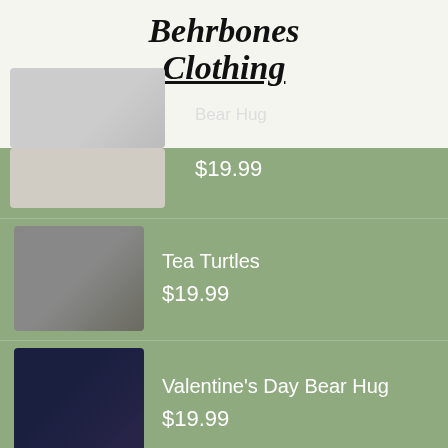Behrbones Clothing
Bear Hug — $19.99 (partial, scrolled off)
Tea Turtles — $19.99
Valentine's Day Bear Hug — $19.99
BEHR BLOG
Oktoberfest – Do Bears Drink Beers?
Dabbing – Can Bears Do The Dab?